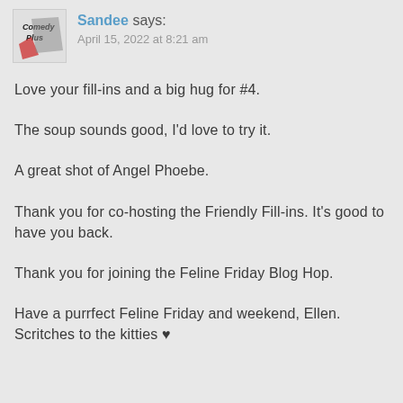Sandee says: April 15, 2022 at 8:21 am
Love your fill-ins and a big hug for #4.
The soup sounds good, I'd love to try it.
A great shot of Angel Phoebe.
Thank you for co-hosting the Friendly Fill-ins. It's good to have you back.
Thank you for joining the Feline Friday Blog Hop.
Have a purrfect Feline Friday and weekend, Ellen. Scritches to the kitties ♥